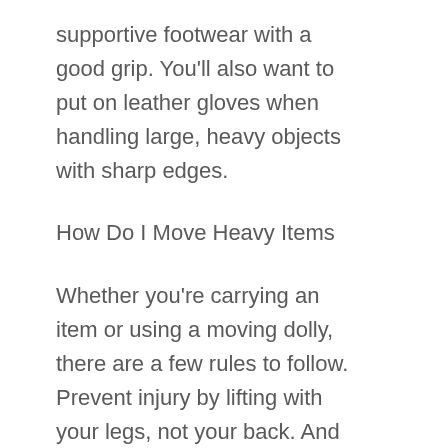supportive footwear with a good grip. You'll also want to put on leather gloves when handling large, heavy objects with sharp edges.
How Do I Move Heavy Items
Whether you're carrying an item or using a moving dolly, there are a few rules to follow. Prevent injury by lifting with your legs, not your back. And don't be afraid to ask for help! A good rule of thumb is to keep boxes under 40 pounds so they can be lifted safely. Use this guide for more tips on lifting boxes and other heavy items